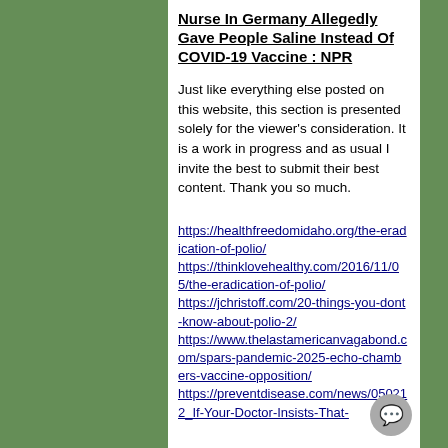Nurse In Germany Allegedly Gave People Saline Instead Of COVID-19 Vaccine : NPR
Just like everything else posted on this website, this section is presented solely for the viewer's consideration. It is a work in progress and as usual I invite the best to submit their best content. Thank you so much.
https://healthfreedomidaho.org/the-eradication-of-polio/ https://thinklovehealthy.com/2016/11/05/the-eradication-of-polio/ https://jchristoff.com/20-things-you-dont-know-about-polio-2/ https://www.thelastamericanvagabond.com/spars-pandemic-2025-echo-chambers-vaccine-opposition/ https://preventdisease.com/news/050212_If-Your-Doctor-Insists-That-